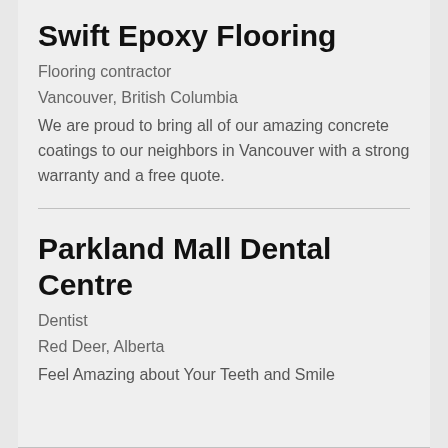Swift Epoxy Flooring
Flooring contractor
Vancouver, British Columbia
We are proud to bring all of our amazing concrete coatings to our neighbors in Vancouver with a strong warranty and a free quote.
Parkland Mall Dental Centre
Dentist
Red Deer, Alberta
Feel Amazing about Your Teeth and Smile